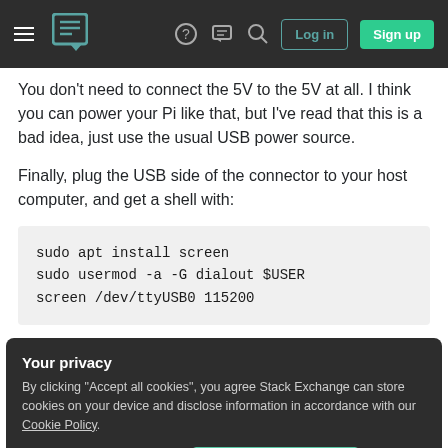Stack Exchange navigation bar with hamburger menu, logo, help, chat, search icons, Log in and Sign up buttons
You don't need to connect the 5V to the 5V at all. I think you can power your Pi like that, but I've read that this is a bad idea, just use the usual USB power source.
Finally, plug the USB side of the connector to your host computer, and get a shell with:
[Figure (screenshot): Code block with commands: sudo apt install screen, sudo usermod -a -G dialout $USER, screen /dev/ttyUSB0 115200]
Your privacy
By clicking "Accept all cookies", you agree Stack Exchange can store cookies on your device and disclose information in accordance with our Cookie Policy.
Accept all cookies   Customize settings
(partial bottom text)